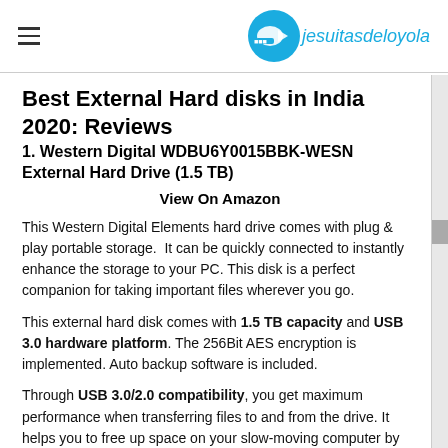jesuitasdeloyola
Best External Hard disks in India 2020: Reviews
1. Western Digital WDBU6Y0015BBK-WESN External Hard Drive (1.5 TB)
View On Amazon
This Western Digital Elements hard drive comes with plug & play portable storage.  It can be quickly connected to instantly enhance the storage to your PC. This disk is a perfect companion for taking important files wherever you go.
This external hard disk comes with 1.5 TB capacity and USB 3.0 hardware platform. The 256Bit AES encryption is implemented. Auto backup software is included.
Through USB 3.0/2.0 compatibility, you get maximum performance when transferring files to and from the drive. It helps you to free up space on your slow-moving computer by transferring files. The USB 3.0 connection maximizes the data